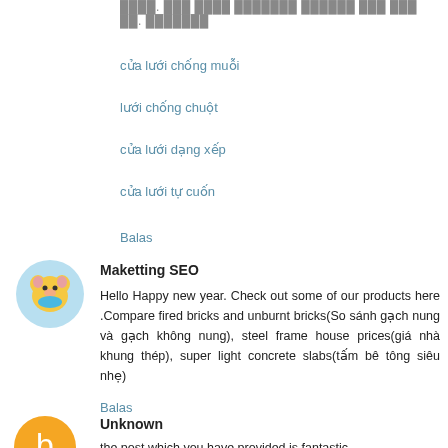████. ███ ████ ███████ ██████ ███ ███ ██. ███████
cửa lưới chống muỗi
lưới chống chuột
cửa lưới dạng xếp
cửa lưới tự cuốn
Balas
Maketting SEO
Hello Happy new year. Check out some of our products here .Compare fired bricks and unburnt bricks(So sánh gạch nung và gạch không nung), steel frame house prices(giá nhà khung thép), super light concrete slabs(tấm bê tông siêu nhẹ)
Balas
Unknown
the post which you have provided is fantastic,
That Can help You To Find satta matka Kalyan and Main Mumbai Matka numbers.